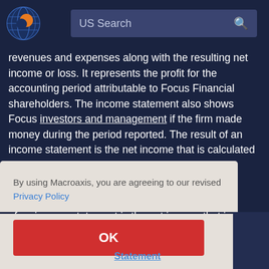[Figure (logo): Macroaxis globe logo with orange and blue colors]
US Search
revenues and expenses along with the resulting net income or loss. It represents the profit for the accounting period attributable to Focus Financial shareholders. The income statement also shows Focus investors and management if the firm made money during the period reported. The result of an income statement is the net income that is calculated ... essential
By using Macroaxis, you are agreeing to our revised Privacy Policy
OK
Statement